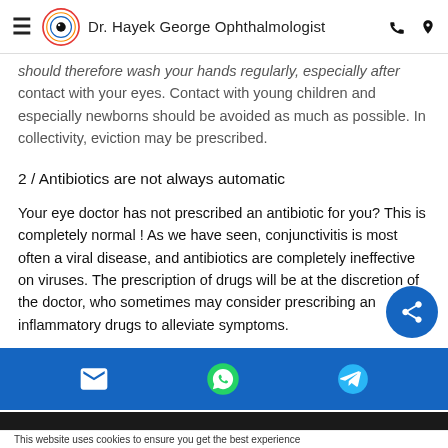Dr. Hayek George Ophthalmologist
should therefore wash your hands regularly, especially after contact with your eyes. Contact with young children and especially newborns should be avoided as much as possible. In collectivity, eviction may be prescribed.
2 / Antibiotics are not always automatic
Your eye doctor has not prescribed an antibiotic for you? This is completely normal ! As we have seen, conjunctivitis is most often a viral disease, and antibiotics are completely ineffective on viruses. The prescription of drugs will be at the discretion of the doctor, who sometimes may consider prescribing an inflammatory drugs to alleviate symptoms.
This website uses cookies to ensure you get the best experience